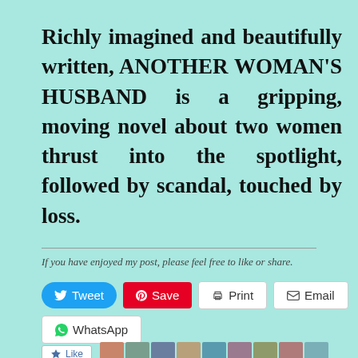Richly imagined and beautifully written, ANOTHER WOMAN'S HUSBAND is a gripping, moving novel about two women thrust into the spotlight, followed by scandal, touched by loss.
If you have enjoyed my post, please feel free to like or share.
[Figure (other): Social sharing buttons: Tweet (blue), Save (red Pinterest), Print (white), Email (white), WhatsApp (white)]
[Figure (other): Like button with star icon and row of small avatar photos]